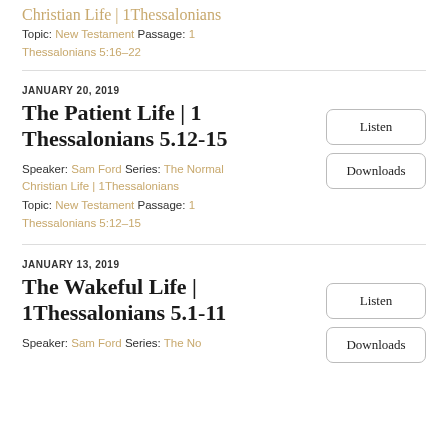Christian Life | 1Thessalonians
Topic: New Testament Passage: 1 Thessalonians 5:16–22
JANUARY 20, 2019
The Patient Life | 1 Thessalonians 5.12-15
Speaker: Sam Ford Series: The Normal Christian Life | 1Thessalonians
Topic: New Testament Passage: 1 Thessalonians 5:12–15
JANUARY 13, 2019
The Wakeful Life | 1Thessalonians 5.1-11
Speaker: Sam Ford Series: The Normal Christian Life | 1Thessalonians